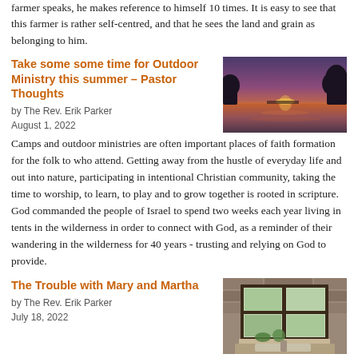farmer speaks, he makes reference to himself 10 times. It is easy to see that this farmer is rather self-centred, and that he sees the land and grain as belonging to him.
Take some some time for Outdoor Ministry this summer – Pastor Thoughts
by The Rev. Erik Parker
August 1, 2022
[Figure (photo): Sunset over a lake with silhouetted trees and colorful sky reflected in water]
Camps and outdoor ministries are often important places of faith formation for the folk to who attend. Getting away from the hustle of everyday life and out into nature, participating in intentional Christian community, taking the time to worship, to learn, to play and to grow together is rooted in scripture. God commanded the people of Israel to spend two weeks each year living in tents in the wilderness in order to connect with God, as a reminder of their wandering in the wilderness for 40 years - trusting and relying on God to provide.
The Trouble with Mary and Martha
by The Rev. Erik Parker
July 18, 2022
[Figure (photo): Interior view of a rustic window with stone wall, plants on windowsill and a sink with dishes visible]
Today, we pick up just after that story with the story of Mary and Martha, another familiar story from Luke. A story for which there are countless pieces of art, bible studies and sermons